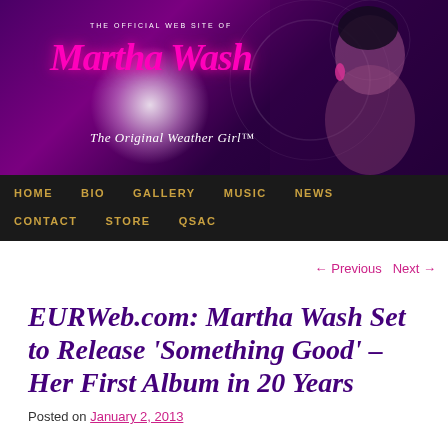[Figure (screenshot): Martha Wash official website banner header with purple/magenta background, glowing light effect, cursive pink 'Martha Wash' logo text and 'The Original Weather Girl' tagline, with portrait of Martha Wash on the right]
THE OFFICIAL WEB SITE OF
Martha Wash
The Original Weather Girl™
HOME   BIO   GALLERY   MUSIC   NEWS   CONTACT   STORE   QSAC
← Previous   Next →
EURWeb.com: Martha Wash Set to Release 'Something Good' – Her First Album in 20 Years
Posted on January 2, 2013